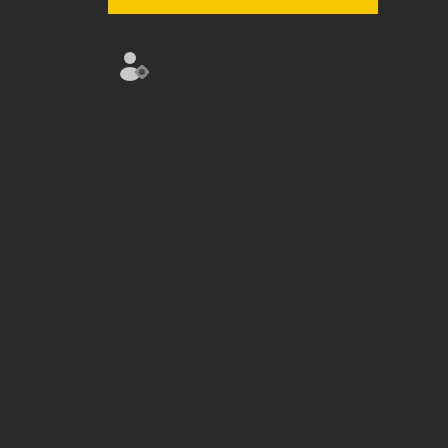[Figure (other): Yellow highlighted navigation bar at top of forum page]
[Figure (other): User/member icon (small person with gear symbol)]
or can virg
«
Reply #20 on: October 24, 2011 04:3 AM
»
A frien of min in high scho invit me to ditch with